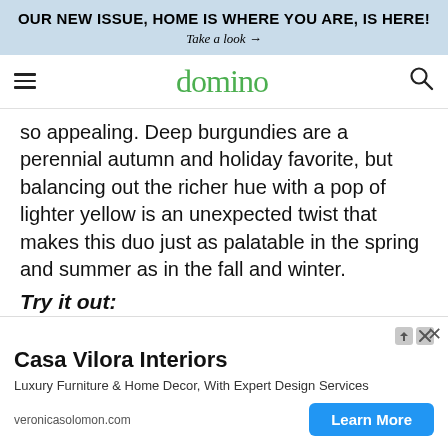OUR NEW ISSUE, HOME IS WHERE YOU ARE, IS HERE!
Take a look →
domino
so appealing. Deep burgundies are a perennial autumn and holiday favorite, but balancing out the richer hue with a pop of lighter yellow is an unexpected twist that makes this duo just as palatable in the spring and summer as in the fall and winter.
Try it out:
Casa Vilora Interiors
Luxury Furniture & Home Decor, With Expert Design Services
veronicasolomon.com
Learn More